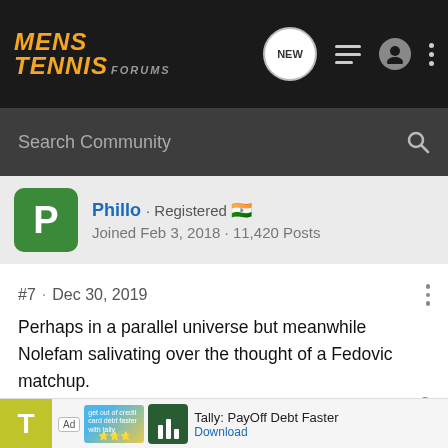Mens Tennis Forums
Search Community
[Figure (screenshot): User profile strip showing user Phillo, Registered, Indian flag, Joined Feb 3, 2018, 11,420 Posts]
#7 · Dec 30, 2019
Perhaps in a parallel universe but meanwhile Nolefam salivating over the thought of a Fedovic matchup.
[Figure (screenshot): Ad banner: Tally: PayOff Debt Faster with Download button]